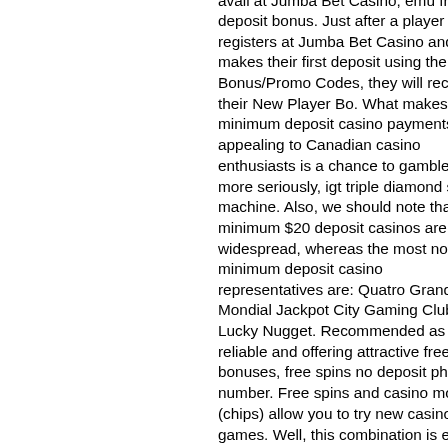avail at Jumba Bet Casino, emu free no deposit bonus. Just after a player registers at Jumba Bet Casino and makes their first deposit using the Bonus/Promo Codes, they will receive their New Player Bo. What makes those minimum deposit casino payments so appealing to Canadian casino enthusiasts is a chance to gamble a bit more seriously, igt triple diamond slot machine. Also, we should note that a minimum $20 deposit casinos are widespread, whereas the most notable minimum deposit casino representatives are: Quatro Grand Mondial Jackpot City Gaming Club Lucky Nugget. Recommended as reliable and offering attractive free bonuses, free spins no deposit phone number. Free spins and casino money (chips) allow you to try new casinos or games. Well, this combination is exactly what this Casino Bonus Guide is all about, tv guide casino